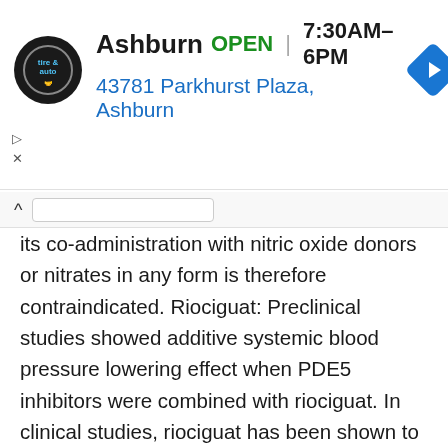[Figure (screenshot): Advertisement banner for Ashburn Tire & Auto showing logo, open status, hours (7:30AM–6PM), and address (43781 Parkhurst Plaza, Ashburn) with a blue navigation arrow icon, plus collapse/play/close controls.]
its co-administration with nitric oxide donors or nitrates in any form is therefore contraindicated. Riociguat: Preclinical studies showed additive systemic blood pressure lowering effect when PDE5 inhibitors were combined with riociguat. In clinical studies, riociguat has been shown to augment the hypotensive effects of PDE5 inhibitors. There was no evidence of favourable clinical effect of the combination in the population studied. Concomitant use of riociguat with PDE5 inhibitors, including sildenafil, is contraindicated. Concomitant administration of sildenafil to